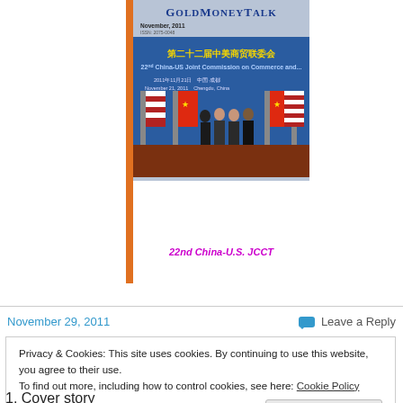[Figure (photo): Magazine cover of GoldMoneyTalk, November 2011, showing a photo of four officials standing in front of flags at the 22nd China-US Joint Commission on Commerce and Trade (JCCT), held November 21, 2011 in Chengdu, China. The cover has a blue-gray background with an orange spine bar on the left.]
22nd China-U.S. JCCT
November 29, 2011
Leave a Reply
Privacy & Cookies: This site uses cookies. By continuing to use this website, you agree to their use.
To find out more, including how to control cookies, see here: Cookie Policy
Close and accept
1. Cover story